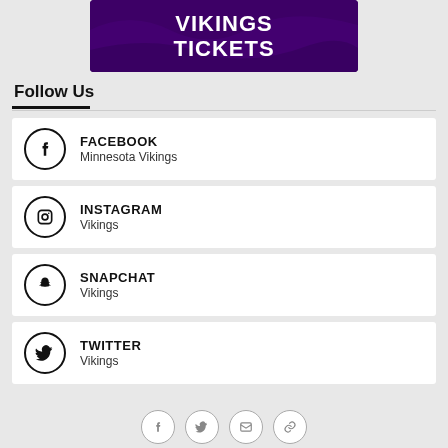[Figure (illustration): Vikings Tickets promotional banner with purple background and white bold text reading VIKINGS TICKETS]
Follow Us
FACEBOOK – Minnesota Vikings
INSTAGRAM – Vikings
SNAPCHAT – Vikings
TWITTER – Vikings
Facebook, Twitter, Email, Link icons